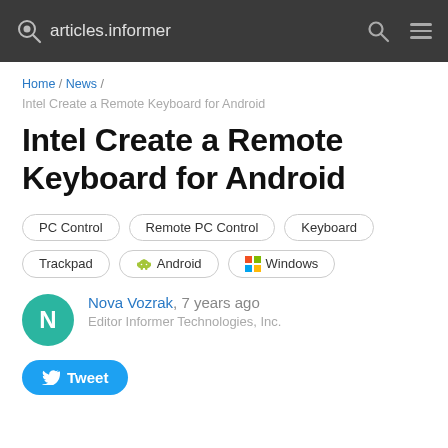articles.informer
Home / News / Intel Create a Remote Keyboard for Android
Intel Create a Remote Keyboard for Android
PC Control
Remote PC Control
Keyboard
Trackpad
Android
Windows
Nova Vozrak, 7 years ago
Editor Informer Technologies, Inc.
Tweet